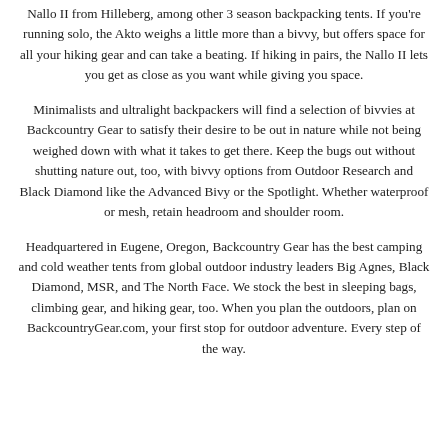Nallo II from Hilleberg, among other 3 season backpacking tents. If you're running solo, the Akto weighs a little more than a bivvy, but offers space for all your hiking gear and can take a beating. If hiking in pairs, the Nallo II lets you get as close as you want while giving you space.
Minimalists and ultralight backpackers will find a selection of bivvies at Backcountry Gear to satisfy their desire to be out in nature while not being weighed down with what it takes to get there. Keep the bugs out without shutting nature out, too, with bivvy options from Outdoor Research and Black Diamond like the Advanced Bivy or the Spotlight. Whether waterproof or mesh, retain headroom and shoulder room.
Headquartered in Eugene, Oregon, Backcountry Gear has the best camping and cold weather tents from global outdoor industry leaders Big Agnes, Black Diamond, MSR, and The North Face. We stock the best in sleeping bags, climbing gear, and hiking gear, too. When you plan the outdoors, plan on BackcountryGear.com, your first stop for outdoor adventure. Every step of the way.